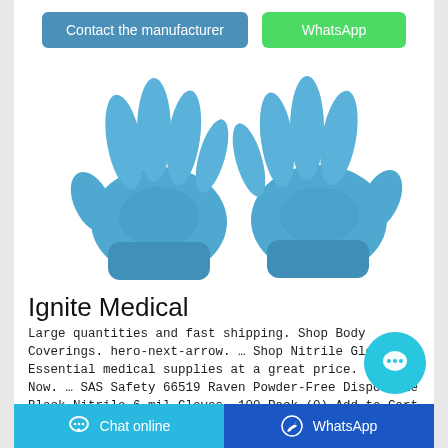[Figure (other): Two blue nitrile disposable gloves shown side by side on white background]
Ignite Medical
Large quantities and fast shipping. Shop Body Coverings. hero-next-arrow. … Shop Nitrile Gloves. Essential medical supplies at a great price. Shop Now. … SAS Safety 66519 Raven Powder-Free Disposable Black Nitrile 6 mil Gloves, 100 Pack (0) Add to Cart the safety zone
Chat online   WhatsApp